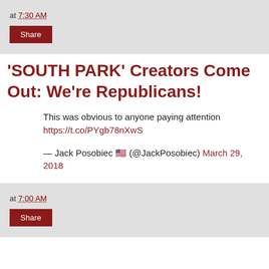at 7:30 AM
Share
'SOUTH PARK' Creators Come Out: We're Republicans!
This was obvious to anyone paying attention https://t.co/PYgb78nXwS
— Jack Posobiec 🇺🇸 (@JackPosobiec) March 29, 2018
at 7:00 AM
Share